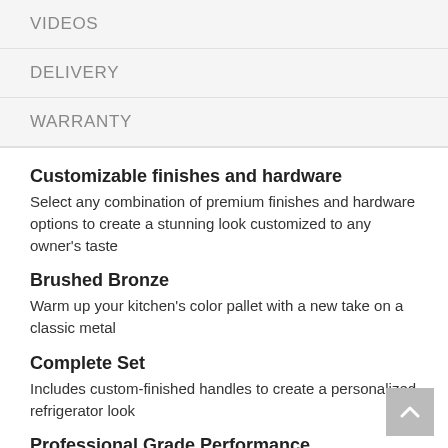VIDEOS
DELIVERY
WARRANTY
Customizable finishes and hardware
Select any combination of premium finishes and hardware options to create a stunning look customized to any owner's taste
Brushed Bronze
Warm up your kitchen's color pallet with a new take on a classic metal
Complete Set
Includes custom-finished handles to create a personalized refrigerator look
Professional Grade Performance
Delight in every touchpoint on your appliance with authentic parts crafted exclusively for your Café